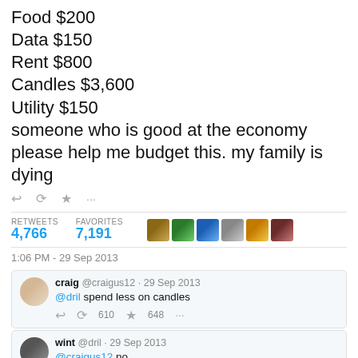Food $200
Data $150
Rent $800
Candles $3,600
Utility $150
someone who is good at the economy please help me budget this. my family is dying
RETWEETS 4,766   FAVORITES 7,191
1:06 PM - 29 Sep 2013
craig @craigus12 · 29 Sep 2013
@dril spend less on candles
↩ ⟳ 610 ★ 648 ···
wint @dril · 29 Sep 2013
@craigus12 no
↩ ⟳ 737 ★ 1.4K ···
Priorities are everything.